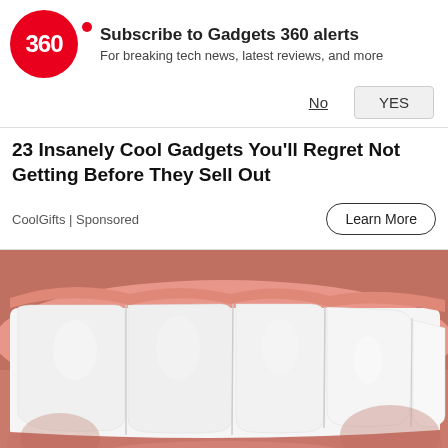Subscribe to Gadgets 360 alerts
For breaking tech news, latest reviews, and more
No  YES
23 Insanely Cool Gadgets You'll Regret Not Getting Before They Sell Out
CoolGifts | Sponsored   Learn More
[Figure (photo): Close-up macro photograph of white human teeth and pink lips/gums]